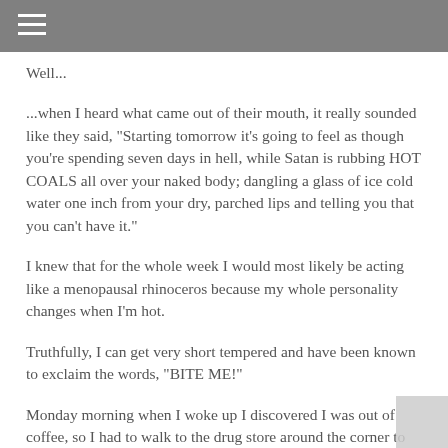Well...
...when I heard what came out of their mouth, it really sounded like they said, "Starting tomorrow it's going to feel as though you're spending seven days in hell, while Satan is rubbing HOT COALS all over your naked body; dangling a glass of ice cold water one inch from your dry, parched lips and telling you that you can't have it."
I knew that for the whole week I would most likely be acting like a menopausal rhinoceros because my whole personality changes when I'm hot.
Truthfully, I can get very short tempered and have been known to exclaim the words, "BITE ME!"
Monday morning when I woke up I discovered I was out of coffee, so I had to walk to the drug store around the corner to get some Maxwell House. And I could tell, even at 9 a.m. that the day was going to be hellacious.